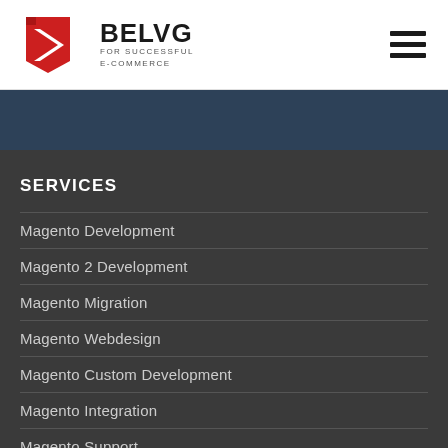BELVG FOR SUCCESSFUL E-COMMERCE
SERVICES
Magento Development
Magento 2 Development
Magento Migration
Magento Webdesign
Magento Custom Development
Magento Integration
Magento Support
Magento Audit